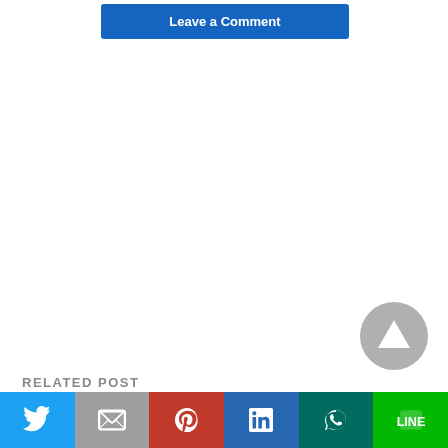Leave a Comment
RELATED POST
[Figure (screenshot): Social share bar with Twitter, Gmail, Pinterest, LinkedIn, WhatsApp, and LINE buttons]